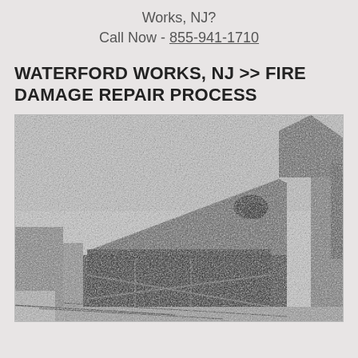Works, NJ?
Call Now - 855-941-1710
WATERFORD WORKS, NJ >> FIRE DAMAGE REPAIR PROCESS
[Figure (photo): Black and white photo of a fire-damaged house showing a collapsed or burned roof with holes and charred structural damage to the front facade and garage area]